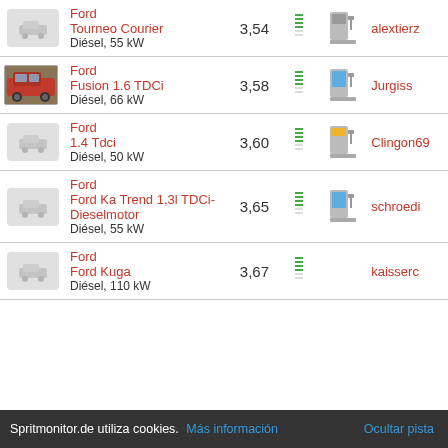| Image | Car | Consumption | Bar | Pump | User |
| --- | --- | --- | --- | --- | --- |
|  | Ford
Tourneo Courier
Diésel, 55 kW | 3,54 |  |  | alextierz |
| [photo] | Ford
Fusion 1.6 TDCi
Diésel, 66 kW | 3,58 |  |  | Jurgiss |
|  | Ford
1.4 Tdci
Diésel, 50 kW | 3,60 |  |  | Clingon69 |
|  | Ford
Ford Ka Trend 1,3l TDCi-Dieselmotor
Diésel, 55 kW | 3,65 |  |  | schroedi |
|  | Ford
Ford Kuga
Diésel, 110 kW | 3,67 |  |  | kaisserc |
Spritmonitor.de utiliza cookies. Más información   Ocultar pista